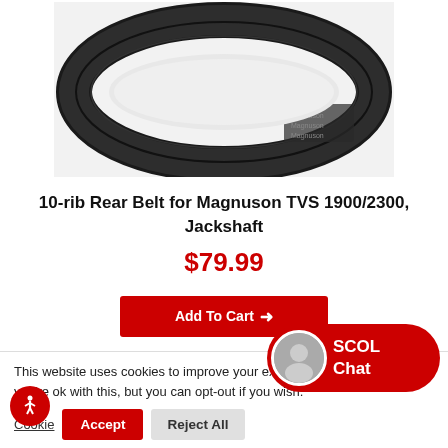[Figure (photo): Black 10-rib rear drive belt shown flat in an oval/loop shape against a white background]
10-rib Rear Belt for Magnuson TVS 1900/2300, Jackshaft
$79.99
Add To Cart
This website uses cookies to improve your experience. We'll assume you're ok with this, but you can opt-out if you wish.
Cookie Settings
Accept
Reject All
SCOL Chat